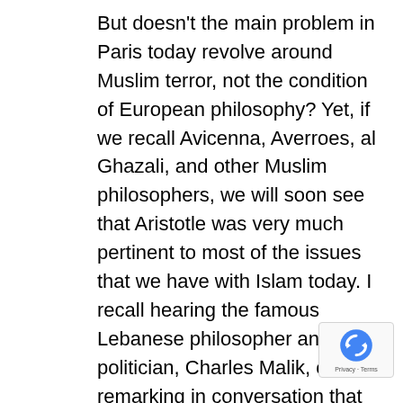But doesn't the main problem in Paris today revolve around Muslim terror, not the condition of European philosophy? Yet, if we recall Avicenna, Averroes, al Ghazali, and other Muslim philosophers, we will soon see that Aristotle was very much pertinent to most of the issues that we have with Islam today. I recall hearing the famous Lebanese philosopher and politician, Charles Malik, once remarking in conversation that the main intellectual link between Islam and the West was precisely Aristotle. To understand why Islam did not, in the end, follow Aristotle is to understand why terror can be and is claimed to be a good. [5] The main problem with Islam does not...